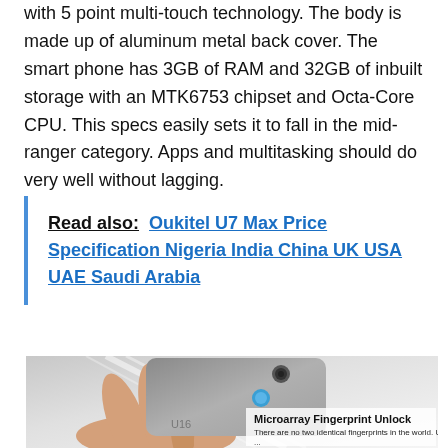with 5 point multi-touch technology. The body is made up of aluminum metal back cover. The smart phone has 3GB of RAM and 32GB of inbuilt storage with an MTK6753 chipset and Octa-Core CPU. This specs easily sets it to fall in the mid-ranger category. Apps and multitasking should do very well without lagging.
Read also: Oukitel U7 Max Price Specification Nigeria India China UK USA UAE Saudi Arabia
[Figure (photo): Hand holding a silver smartphone from the back showing fingerprint sensor, with text overlay: 'Microarray Fingerprint Unlock - There are no two identical fingerprints in the world. U16 Max...']